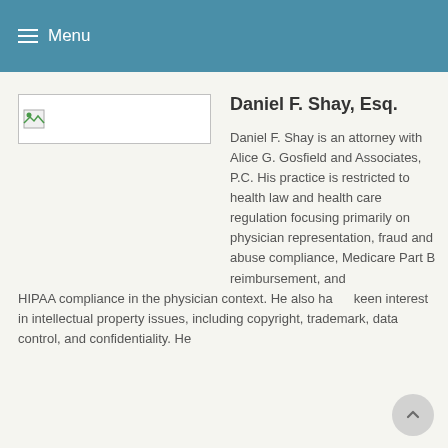≡ Menu
[Figure (photo): Placeholder image box for Daniel F. Shay photo]
Daniel F. Shay, Esq.
Daniel F. Shay is an attorney with Alice G. Gosfield and Associates, P.C. His practice is restricted to health law and health care regulation focusing primarily on physician representation, fraud and abuse compliance, Medicare Part B reimbursement, and HIPAA compliance in the physician context. He also has a keen interest in intellectual property issues, including copyright, trademark, data control, and confidentiality. He